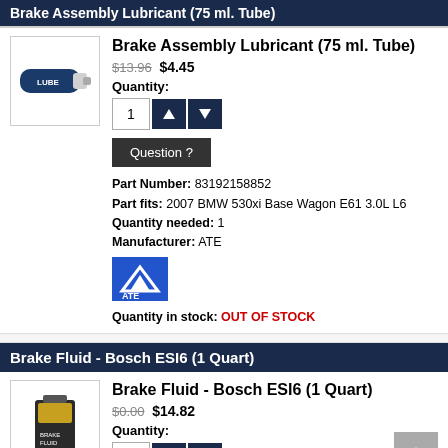Brake Assembly Lubricant (75 ml. Tube)
Brake Assembly Lubricant (75 ml. Tube)
$13.96 $4.45
Quantity:
Question ?
Part Number: 83192158852
Part fits: 2007 BMW 530xi Base Wagon E61 3.0L L6
Quantity needed: 1
Manufacturer: ATE
[Figure (logo): ATE manufacturer logo - blue square with white ATE mountain/arrow graphic]
Quantity in stock: OUT OF STOCK
Brake Fluid - Bosch ESI6 (1 Quart)
Brake Fluid - Bosch ESI6 (1 Quart)
$0.00 $14.82
Quantity: